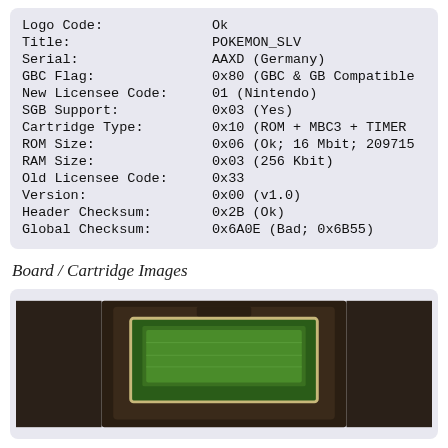| Field | Value |
| --- | --- |
| Logo Code: | Ok |
| Title: | POKEMON_SLV |
| Serial: | AAXD (Germany) |
| GBC Flag: | 0x80 (GBC & GB Compatible |
| New Licensee Code: | 01 (Nintendo) |
| SGB Support: | 0x03 (Yes) |
| Cartridge Type: | 0x10 (ROM + MBC3 + TIMER |
| ROM Size: | 0x06 (Ok; 16 Mbit; 209715 |
| RAM Size: | 0x03 (256 Kbit) |
| Old Licensee Code: | 0x33 |
| Version: | 0x00 (v1.0) |
| Header Checksum: | 0x2B (Ok) |
| Global Checksum: | 0x6A0E (Bad; 0x6B55) |
Board / Cartridge Images
[Figure (photo): Photo of a Game Boy cartridge board showing a green PCB inside a cartridge shell, photographed against a dark background.]